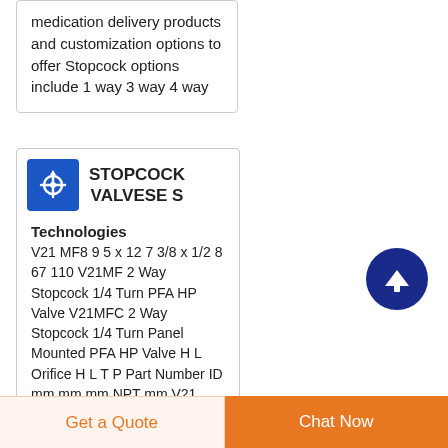medication delivery products and customization options to offer Stopcock options include 1 way 3 way 4 way
[Figure (logo): Blue square icon with a white stopcock/valve symbol (cross/arrow shape)]
STOPCOCK VALVESE S
Technologies
V21 MF8 9 5 x 12 7 3/8 x 1/2 8 67 110 V21MF 2 Way Stopcock 1/4 Turn PFA HP Valve V21MFC 2 Way Stopcock 1/4 Turn Panel Mounted PFA HP Valve H L Orifice H L T P Part Number ID mm mm mm NPT mm V21
[Figure (other): Dark blue circular button with white upward arrow icon (scroll to top button)]
Get a Quote
Chat Now